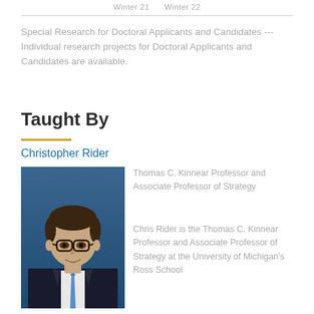Winter 21    Winter 22
Special Research for Doctoral Applicants and Candidates --- Individual research projects for Doctoral Applicants and Candidates are available.
Taught By
Christopher Rider
[Figure (photo): Headshot photo of Christopher Rider, a man with dark hair wearing glasses, a dark suit, white shirt, and blue tie, against a blue background.]
Thomas C. Kinnear Professor and Associate Professor of Strategy
Chris Rider is the Thomas C. Kinnear Professor and Associate Professor of Strategy at the University of Michigan's Ross School